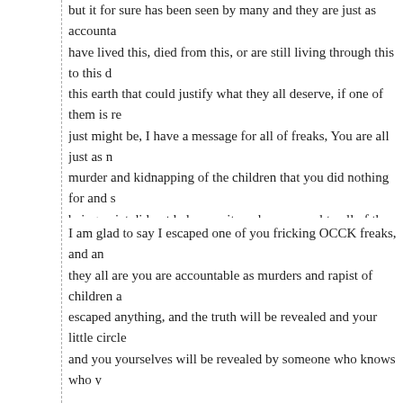but it for sure has been seen by many and they are just as accounta have lived this, died from this, or are still living through this to this d this earth that could justify what they all deserve, if one of them is re just might be, I have a message for all of freaks, You are all just as murder and kidnapping of the children that you did nothing for and s being quiet did not help you, it made you equal to all of them that co know your silence will never be silenced, that is only through your o got away with something.
I am glad to say I escaped one of you fricking OCCK freaks, and an they all are you are accountable as murders and rapist of children a escaped anything, and the truth will be revealed and your little circle and you yourselves will be revealed by someone who knows who y with you sickness however who ever knows or you told will live to te
Cold Case 43 years…… unreal stop being cowards and man up or sickness inside all of you, Speak up I can't fricking hear you.
Reply